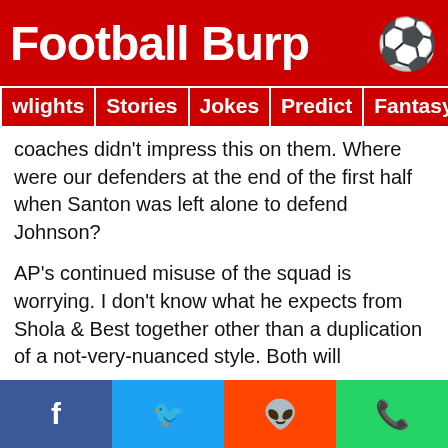Football Burp ⚽
wlights | Stories | Jokes | Predict | Fantasy 🔥 🔍
coaches didn't impress this on them. Where were our defenders at the end of the first half when Santon was left alone to defend Johnson?
AP's continued misuse of the squad is worrying. I don't know what he expects from Shola & Best together other than a duplication of a not-very-nuanced style. Both will consistently start a play with their backs to goal and try to take balls down and either turn with it or knock it down for others. HBA is not a natural winger as he doesn't track back much and when he does he's not real good at it. What his goals show me is that he indeed needs to have a free role-especially in a game like